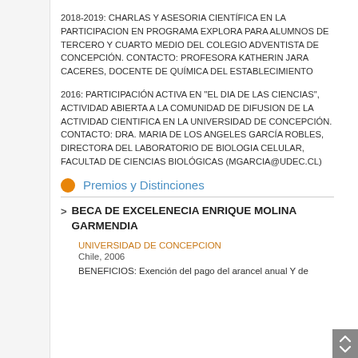2018-2019: CHARLAS Y ASESORIA CIENTÍFICA EN LA PARTICIPACION EN PROGRAMA EXPLORA PARA ALUMNOS DE TERCERO Y CUARTO MEDIO DEL COLEGIO ADVENTISTA DE CONCEPCIÓN. CONTACTO: PROFESORA KATHERIN JARA CACERES, DOCENTE DE QUÍMICA DEL ESTABLECIMIENTO
2016: PARTICIPACIÓN ACTIVA EN "EL DIA DE LAS CIENCIAS", ACTIVIDAD ABIERTA A LA COMUNIDAD DE DIFUSION DE LA ACTIVIDAD CIENTIFICA EN LA UNIVERSIDAD DE CONCEPCIÓN. CONTACTO: DRA. MARIA DE LOS ANGELES GARCÍA ROBLES, DIRECTORA DEL LABORATORIO DE BIOLOGIA CELULAR, FACULTAD DE CIENCIAS BIOLÓGICAS (MGARCIA@UDEC.CL)
Premios y Distinciones
BECA DE EXCELENECIA ENRIQUE MOLINA GARMENDIA
UNIVERSIDAD DE CONCEPCION
Chile, 2006
BENEFICIOS: Exención del pago del arancel anual Y de